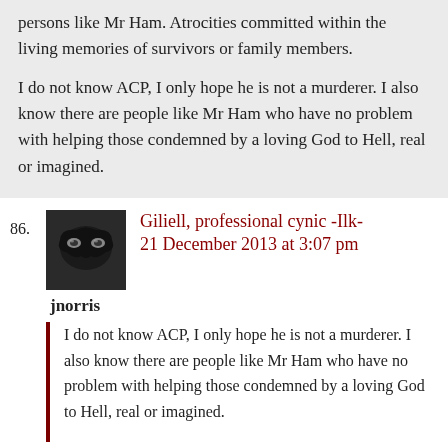persons like Mr Ham. Atrocities committed within the living memories of survivors or family members.

I do not know ACP, I only hope he is not a murderer. I also know there are people like Mr Ham who have no problem with helping those condemned by a loving God to Hell, real or imagined.
86. Giliell, professional cynic -Ilk-
21 December 2013 at 3:07 pm
jnorris
I do not know ACP, I only hope he is not a murderer. I also know there are people like Mr Ham who have no problem with helping those condemned by a loving God to Hell, real or imagined.